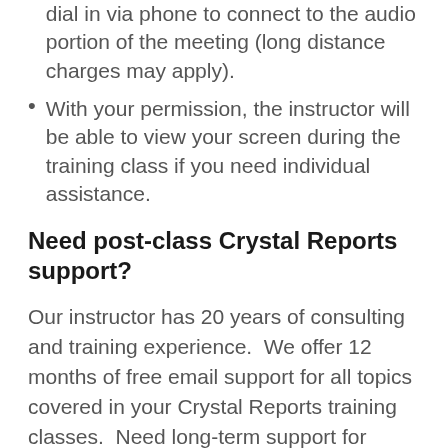dial in via phone to connect to the audio portion of the meeting (long distance charges may apply).
With your permission, the instructor will be able to view your screen during the training class if you need individual assistance.
Need post-class Crystal Reports support?
Our instructor has 20 years of consulting and training experience.  We offer 12 months of free email support for all topics covered in your Crystal Reports training classes.  Need long-term support for Crystal Reports or have design questions that are difficult to answer via email?  We provide consulting and support services for your Crystal Reports questions that will most likely arise after your